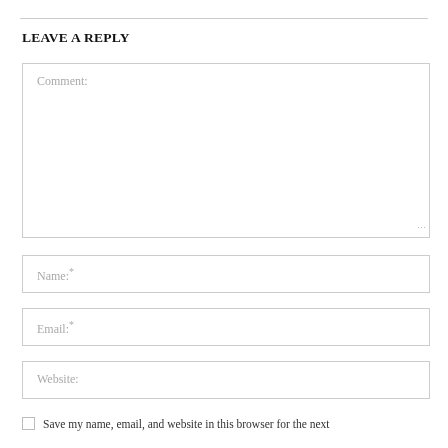LEAVE A REPLY
Comment:
Name:*
Email:*
Website:
Save my name, email, and website in this browser for the next